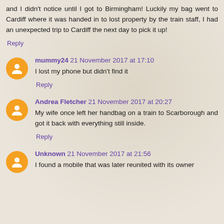and I didn't notice until I got to Birmingham! Luckily my bag went to Cardiff where it was handed in to lost property by the train staff, I had an unexpected trip to Cardiff the next day to pick it up!
Reply
mummy24  21 November 2017 at 17:10
I lost my phone but didn't find it
Reply
Andrea Fletcher  21 November 2017 at 20:27
My wife once left her handbag on a train to Scarborough and got it back with everything still inside.
Reply
Unknown  21 November 2017 at 21:56
I found a mobile that was later reunited with its owner